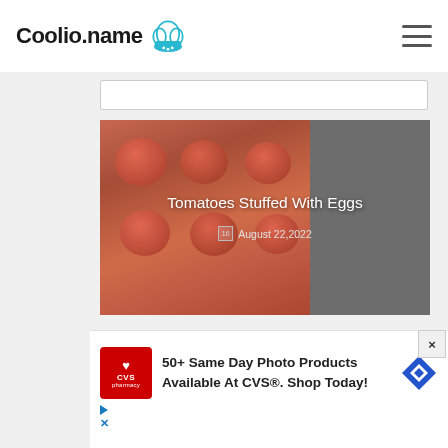Coolio.name
[Figure (photo): Tomatoes stuffed with eggs in a baking dish, covered with melted cheese]
Tomatoes Stuffed With Eggs
August 22,2022
[Figure (photo): Cheddar soup with vegetables in a pan or plate]
Cheddar Soup With Vegetables Recipe
[Figure (infographic): CVS Pharmacy advertisement: 50+ Same Day Photo Products Available At CVS®. Shop Today!]